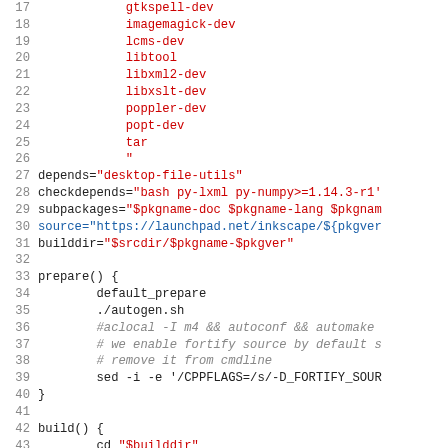Code listing lines 17-46, shell/APKBUILD script for inkscape package